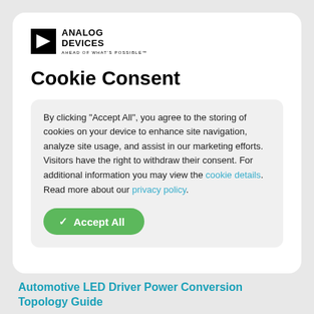[Figure (logo): Analog Devices logo with triangle icon and tagline AHEAD OF WHAT'S POSSIBLE]
Cookie Consent
By clicking “Accept All”, you agree to the storing of cookies on your device to enhance site navigation, analyze site usage, and assist in our marketing efforts. Visitors have the right to withdraw their consent. For additional information you may view the cookie details. Read more about our privacy policy.
Accept All
Automotive LED Driver Power Conversion Topology Guide